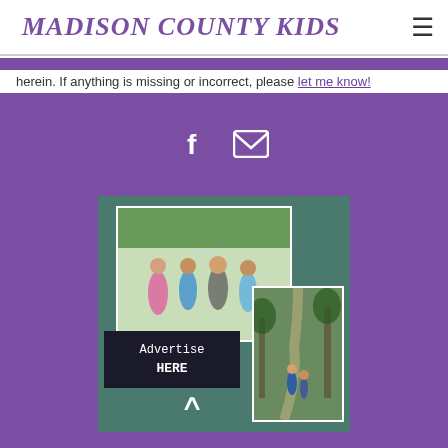MADISON COUNTY KIDS
herein. If anything is missing or incorrect, please let me know!
[Figure (other): Social media icons: Facebook (f) and email envelope]
[Figure (illustration): Advertise HERE promotional image with two photos: children having a water fight, and people hiking on a wooded path. Overlaid text reads 'Advertise HERE'.]